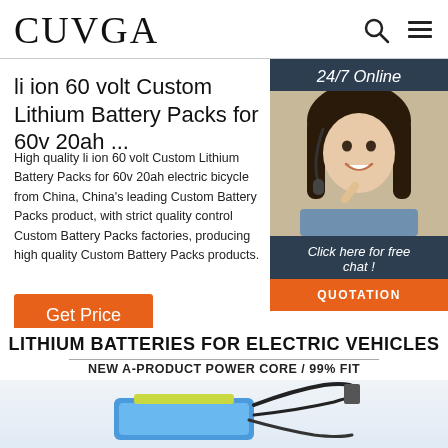CUVGA
li ion 60 volt Custom Lithium Battery Packs for 60v 20ah ...
High quality li ion 60 volt Custom Lithium Battery Packs for 60v 20ah electric bicycle from China, China's leading Custom Lithium Battery Packs product, with strict quality control Custom Battery Packs factories, producing high quality Custom Battery Packs products.
Get Price
[Figure (photo): Customer service representative wearing headset, smiling. Sidebar with '24/7 Online', 'Click here for free chat!', and 'QUOTATION' button.]
LITHIUM BATTERIES FOR ELECTRIC VEHICLES
NEW A-PRODUCT POWER CORE / 99% FIT
[Figure (photo): Lithium battery pack with wires, blue and yellow colored, partially visible at bottom of page.]